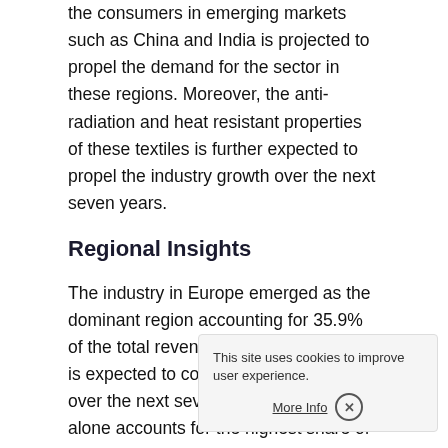the consumers in emerging markets such as China and India is projected to propel the demand for the sector in these regions. Moreover, the anti-radiation and heat resistant properties of these textiles is further expected to propel the industry growth over the next seven years.
Regional Insights
The industry in Europe emerged as the dominant region accounting for 35.9% of the total revenue share in 2018 and is expected to continue its dominance over the next seven years. Germany alone accounts for the highest share of the entire European market owing to the presence of advanced infrastructure & technology, automotive heritage, and highly skilled workforce.
The demand for the product in North America was dominated by the nylon fabric owing to its conductive and better performance in terms of presence of huge technolog continuous R&D activities are expected to boost the